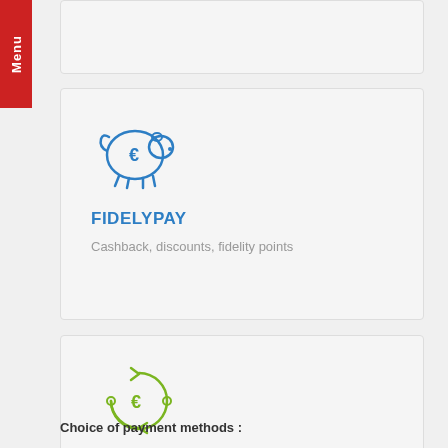[Figure (illustration): Piggy bank icon with euro symbol in blue outline style]
FIDELYPAY
Cashback, discounts, fidelity points
[Figure (illustration): Currency transfer/exchange icon with euro symbol and circular arrows in olive/green outline style]
TRANSFER
SCT (SEPA Credit Transfer)
Choice of payment methods :